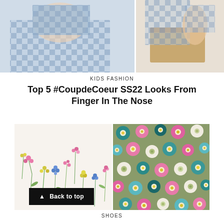[Figure (photo): Two children wearing blue checkered/plaid pajama outfits, split into left and right panels]
KIDS FASHION
Top 5 #CoupdeCoeur SS22 Looks From Finger In The Nose
[Figure (photo): Left panel: white background with delicate wildflower botanical print in pink, blue, yellow and green. Right panel: olive green background covered in large retro-style flowers in pink, teal, blue and white.]
SHOES